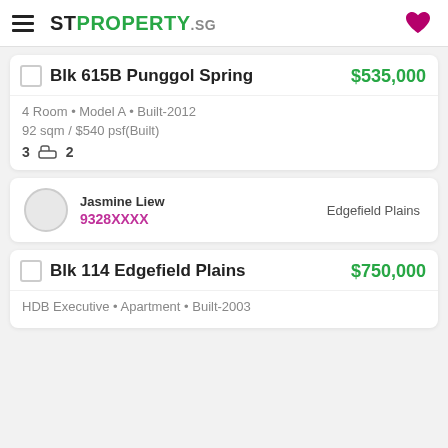STPROPERTY.sg
Blk 615B Punggol Spring $535,000
4 Room • Model A • Built-2012
92 sqm / $540 psf(Built)
3 [bed] 2 [bath]
Jasmine Liew
9328XXXX
Edgefield Plains
Blk 114 Edgefield Plains $750,000
HDB Executive • Apartment • Built-2003